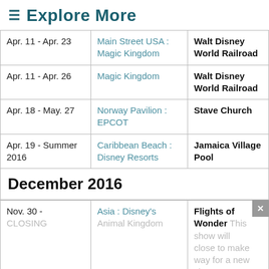≡ Explore More
| Apr. 11 - Apr. 23 | Main Street USA : Magic Kingdom | Walt Disney World Railroad |
| Apr. 11 - Apr. 26 | Magic Kingdom | Walt Disney World Railroad |
| Apr. 18 - May. 27 | Norway Pavilion : EPCOT | Stave Church |
| Apr. 19 - Summer 2016 | Caribbean Beach : Disney Resorts | Jamaica Village Pool |
December 2016
| Nov. 30 - CLOSING | Asia : Disney's Animal Kingdom | Flights of Wonder This show will close to make way for a new show |